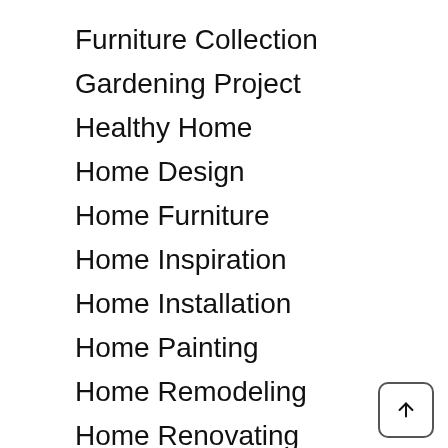Furniture Collection
Gardening Project
Healthy Home
Home Design
Home Furniture
Home Inspiration
Home Installation
Home Painting
Home Remodeling
Home Renovating
Home Roofing
How To Improve Your Home
Kitchen Cabinet